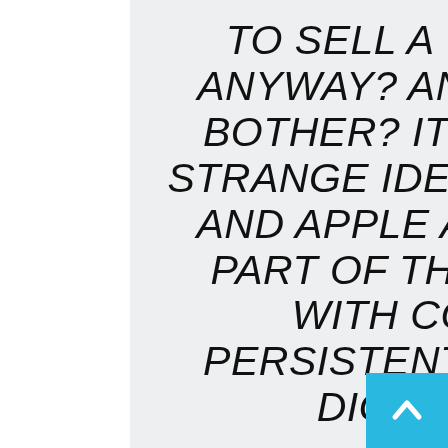TO SELL A USED DIGITAL FILE, ANYWAY? AND WHY WOULD YOU BOTHER? IT MIGHT SEEM LIKE A STRANGE IDEA, BUT BOTH AMAZON AND APPLE ARE WORKING ON IT. PART OF THIS MAY HAVE TO DO WITH COST: THERE IS A PERSISTENT PERCEPTION THAT DIGITAL COMICS AND